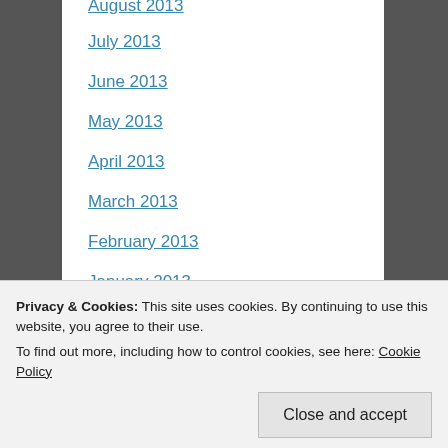August 2013
July 2013
June 2013
May 2013
April 2013
March 2013
February 2013
January 2013
December 2012
November 2012
October 2012
September 2012
Privacy & Cookies: This site uses cookies. By continuing to use this website, you agree to their use.
To find out more, including how to control cookies, see here: Cookie Policy
Close and accept